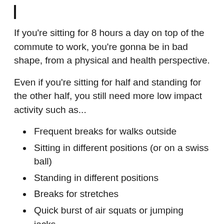If you're sitting for 8 hours a day on top of the commute to work, you're gonna be in bad shape, from a physical and health perspective.
Even if you're sitting for half and standing for the other half, you still need more low impact activity such as...
Frequent breaks for walks outside
Sitting in different positions (or on a swiss ball)
Standing in different positions
Breaks for stretches
Quick burst of air squats or jumping jacks.
Scatter these throughout the entire day and you'll be set with bringing your daily activity level up in a non-stressful way.